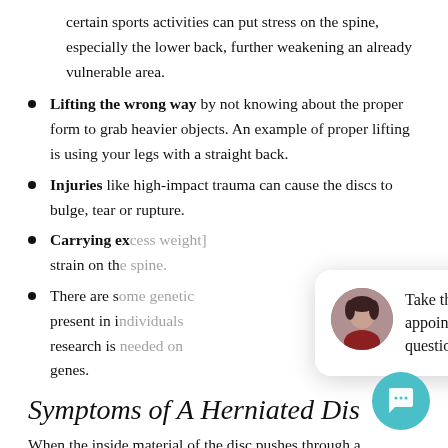certain sports activities can put stress on the spine, especially the lower back, further weakening an already vulnerable area.
Lifting the wrong way by not knowing about the proper form to grab heavier objects. An example of proper lifting is using your legs with a straight back.
Injuries like high-impact trauma can cause the discs to bulge, tear or rupture.
Carrying ex[cess weight puts] strain on th[e spine.]
There are so[me genetic factors] present in in[dividuals — more] research is [needed on these] genes.
Symptoms of A Herniated Dis[c]
When the inside material of the disc pushes through a
[Figure (other): Chat popup overlay with close button, avatar photo of a woman, and text: Take the first step. Book an appointment or get your questions answered. Also a teal circular chat FAB button in the bottom right.]